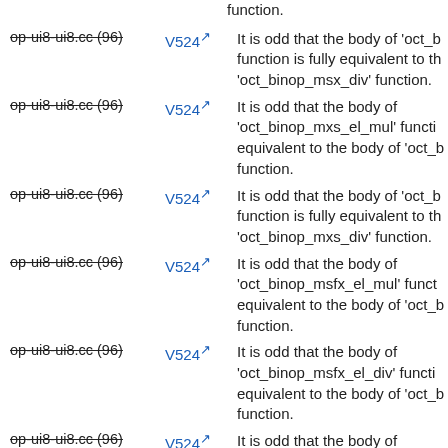function.
op-ui8-ui8.cc (96) V524 It is odd that the body of 'oct_b function is fully equivalent to the 'oct_binop_msx_div' function.
op-ui8-ui8.cc (96) V524 It is odd that the body of 'oct_binop_mxs_el_mul' function is equivalent to the body of 'oct_b function.
op-ui8-ui8.cc (96) V524 It is odd that the body of 'oct_b function is fully equivalent to the 'oct_binop_mxs_div' function.
op-ui8-ui8.cc (96) V524 It is odd that the body of 'oct_binop_msfx_el_mul' function is equivalent to the body of 'oct_b function.
op-ui8-ui8.cc (96) V524 It is odd that the body of 'oct_binop_msfx_el_div' function is equivalent to the body of 'oct_b function.
op-ui8-ui8.cc (96) V524 It is odd that the body of 'oct_binop_mfxs_el_mul' function is equivalent to the body of 'oct_b function.
It is odd that the body of 'oct_binop_mfxs_el_div' functi...